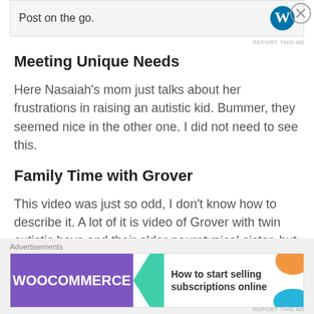[Figure (other): WordPress app advertisement banner: 'Post on the go.' with WordPress logo]
Meeting Unique Needs
Here Nasaiah's mom just talks about her frustrations in raising an autistic kid. Bummer, they seemed nice in the other one. I did not need to see this.
Family Time with Grover
This video was just so odd, I don't know how to describe it. A lot of it is video of Grover with twin autistic boys and their older neurotypical sister, but
[Figure (other): WooCommerce advertisement banner: 'How to start selling subscriptions online']